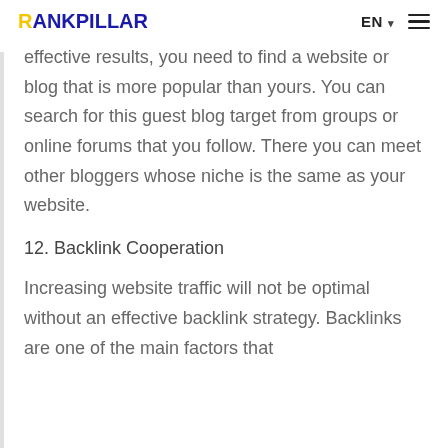RANKPILLAR | EN ▾ ☰
effective results, you need to find a website or blog that is more popular than yours. You can search for this guest blog target from groups or online forums that you follow. There you can meet other bloggers whose niche is the same as your website.
12. Backlink Cooperation
Increasing website traffic will not be optimal without an effective backlink strategy. Backlinks are one of the main factors that